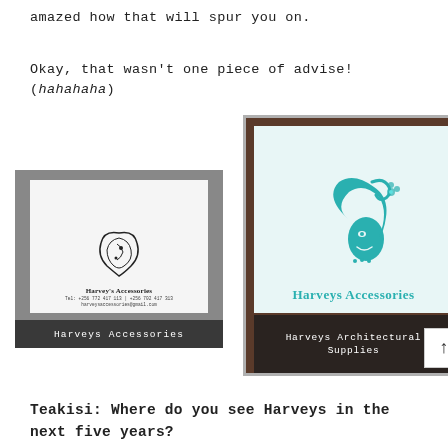amazed how that will spur you on.
Okay, that wasn't one piece of advise! (hahahaha)
[Figure (photo): Black and white photo of a business card for Harvey's Accessories with logo, contact details, and a dark caption bar at the bottom reading 'Harveys Accessories']
[Figure (photo): Color photo of a storefront glass sign for Harveys Accessories featuring a teal woman's face logo and the text 'Harveys Accessories' and below a dark band reading 'Harveys Architectural Supplies']
Teakisi: Where do you see Harveys in the next five years?